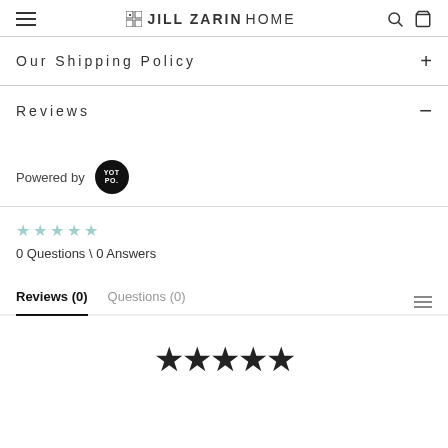JILL ZARIN HOME
Our Shipping Policy
Reviews
Powered by YOTPO
0 Questions \ 0 Answers
Reviews (0)   Questions (0)